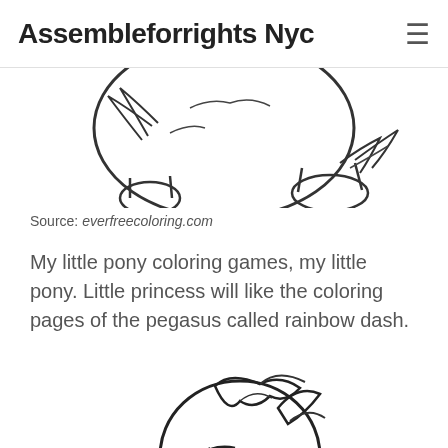Assembleforrights Nyc
[Figure (illustration): Partial coloring page illustration of My Little Pony character, showing lower body/hooves, cropped at top]
Source: everfreecoloring.com
My little pony coloring games, my little pony. Little princess will like the coloring pages of the pegasus called rainbow dash.
[Figure (illustration): Coloring page illustration of Rainbow Dash pegasus pony character from My Little Pony, showing head, face, mane and wings, black and white line art]